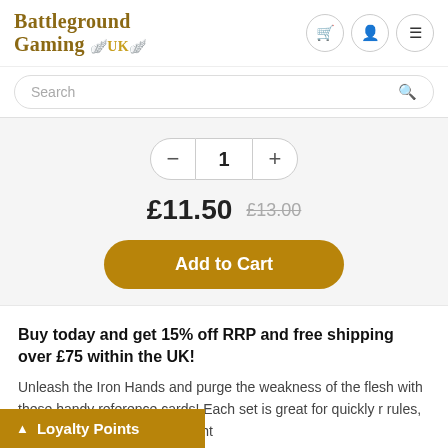[Figure (logo): Battleground Gaming UK logo with serif text and golden wing emblem]
Search
1
£11.50  £13.00
Add to Cart
Buy today and get 15% off RRP and free shipping over £75 within the UK!
Unleash the Iron Hands and purge the weakness of the flesh with these handy reference cards! Each set is great for quickly r rules, making sure you'll pick the right
Loyalty Points